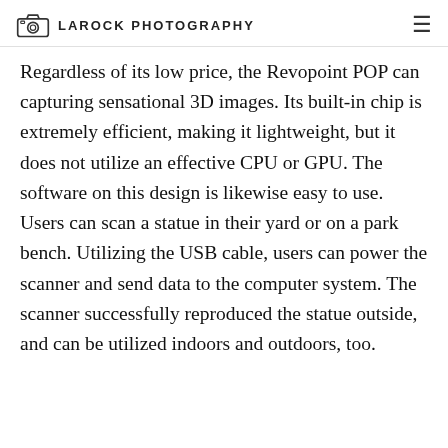LAROCK PHOTOGRAPHY
Regardless of its low price, the Revopoint POP can capturing sensational 3D images. Its built-in chip is extremely efficient, making it lightweight, but it does not utilize an effective CPU or GPU. The software on this design is likewise easy to use. Users can scan a statue in their yard or on a park bench. Utilizing the USB cable, users can power the scanner and send data to the computer system. The scanner successfully reproduced the statue outside, and can be utilized indoors and outdoors, too.